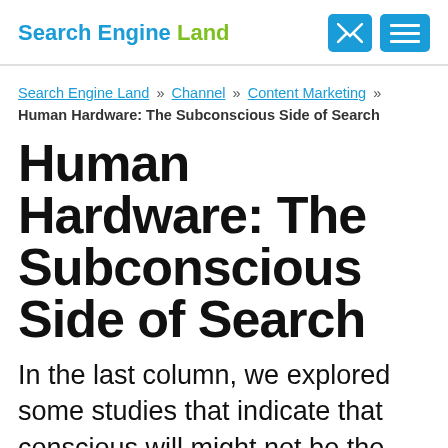Search Engine Land
Search Engine Land » Channel » Content Marketing » Human Hardware: The Subconscious Side of Search
Human Hardware: The Subconscious Side of Search
In the last column, we explored some studies that indicate that conscious will might not be the cause of our actions, but